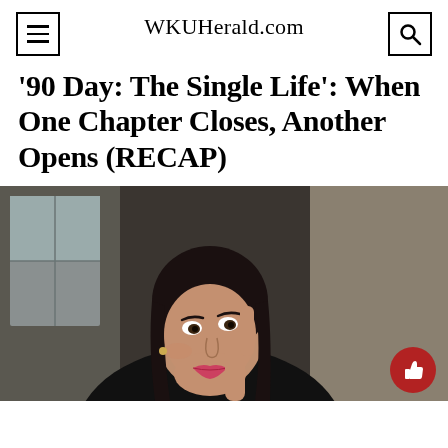WKUHerald.com
'90 Day: The Single Life': When One Chapter Closes, Another Opens (RECAP)
[Figure (photo): A woman with dark hair resting her head on her hand, looking upward thoughtfully. She is wearing a dark top. Background shows a window and neutral wall tones. A red circular like/thumbs-up button appears in the bottom right corner.]